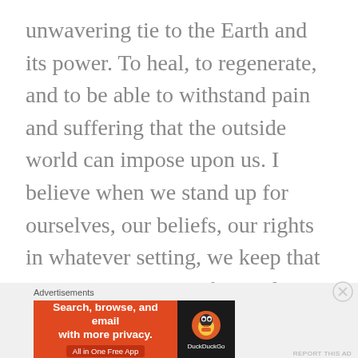unwavering tie to the Earth and its power. To heal, to regenerate, and to be able to withstand pain and suffering that the outside world can impose upon us. I believe when we stand up for ourselves, our beliefs, our rights in whatever setting, we keep that momentum moving forward as a collective consciousness for women everywhere.
[Figure (other): DuckDuckGo advertisement banner with orange left panel reading 'Search, browse, and email with more privacy. All in One Free App' and dark right panel with DuckDuckGo duck logo]